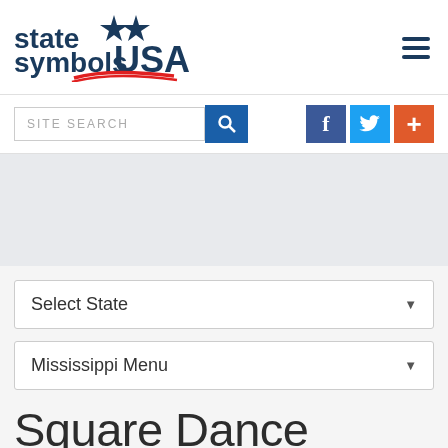[Figure (logo): State Symbols USA logo with two blue stars and a red swoosh underline]
[Figure (infographic): Hamburger menu icon with three horizontal dark blue lines]
[Figure (infographic): Site search bar with magnifying glass icon and social media buttons (Facebook, Twitter, plus)]
[Figure (other): Gray advertisement/banner placeholder area]
Select State
Mississippi Menu
Square Dance